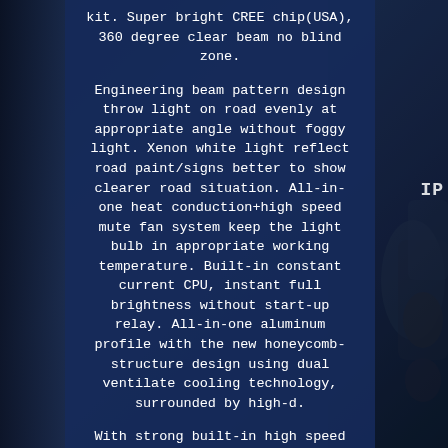kit. Super bright CREE chip(USA), 360 degree clear beam no blind zone.
Engineering beam pattern design throw light on road evenly at appropriate angle without foggy light. Xenon white light reflect road paint/signs better to show clearer road situation. All-in-one heat conduction+high speed mute fan system keep the light bulb in appropriate working temperature. Built-in constant current CPU, instant full brightness without start-up relay. All-in-one aluminum profile with the new honeycomb-structure design using dual ventilate cooling technology, surrounded by high-d.
With strong built-in high speed